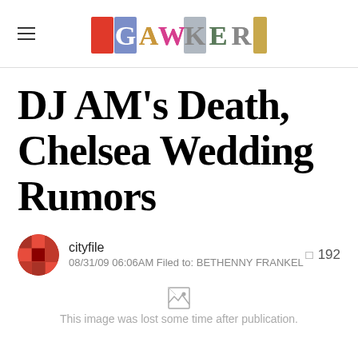GAWKER (logo)
DJ AM's Death, Chelsea Wedding Rumors
cityfile  192
08/31/09 06:06AM Filed to: BETHENNY FRANKEL
This image was lost some time after publication.